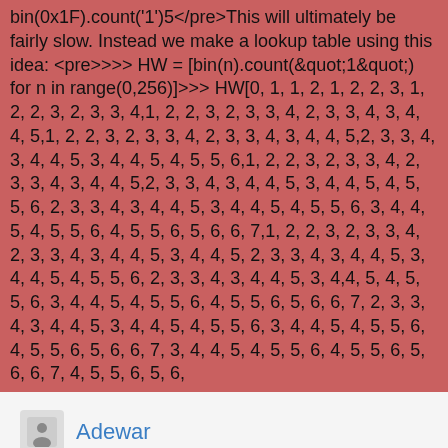bin(0x1F).count('1')5</pre>This will ultimately be fairly slow. Instead we make a lookup table using this idea: <pre>>>> HW = [bin(n).count(&quot;1&quot;) for n in range(0,256)]>>> HW[0, 1, 1, 2, 1, 2, 2, 3, 1, 2, 2, 3, 2, 3, 3, 4,1, 2, 2, 3, 2, 3, 3, 4, 2, 3, 3, 4, 3, 4, 4, 5,1, 2, 2, 3, 2, 3, 3, 4, 2, 3, 3, 4, 3, 4, 4, 5,2, 3, 3, 4, 3, 4, 4, 5, 3, 4, 4, 5, 4, 5, 5, 6,1, 2, 2, 3, 2, 3, 3, 4, 2, 3, 3, 4, 3, 4, 4, 5,2, 3, 3, 4, 3, 4, 4, 5, 3, 4, 4, 5, 4, 5, 5, 6, 2, 3, 3, 4, 3, 4, 4, 5, 3, 4, 4, 5, 4, 5, 5, 6, 3, 4, 4, 5, 4, 5, 5, 6, 4, 5, 5, 6, 5, 6, 6, 7,1, 2, 2, 3, 2, 3, 3, 4, 2, 3, 3, 4, 3, 4, 4, 5, 3, 4, 4, 5, 4, 5, 5, 6, 2, 3, 3, 4, 3, 4, 4, 5, 3, 4, 4, 5, 4, 5, 5, 6, 3, 4, 4, 5, 4, 5, 5, 6, 3, 4, 4, 5, 4, 5, 5, 6, 4, 5, 5, 6, 5, 6, 6, 7, 2, 3, 3, 4, 3, 4, 4, 5, 3, 4, 4, 5, 4, 5, 5, 6, 3, 4, 4, 5, 4, 5, 5, 6, 4, 5, 5, 6, 5, 6, 6, 7, 3, 4, 4, 5, 4, 5, 5, 6, 4, 5, 5, 6, 5, 6, 6, 7, 4, 5, 5, 6, 5, 6,
Adewar
APPROVED_USERS, ADMINISTRATOR
362 EDITS